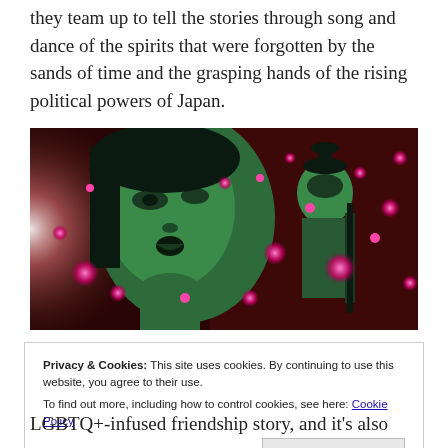they team up to tell the stories through song and dance of the spirits that were forgotten by the sands of time and the grasping hands of the rising political powers of Japan.
[Figure (screenshot): Animated scene with two green-tinted spirit figures on a dark red background with glowing pink orbs/lights surrounding them.]
Privacy & Cookies: This site uses cookies. By continuing to use this website, you agree to their use. To find out more, including how to control cookies, see here: Cookie Policy
Close and accept
LGBTQ+-infused friendship story, and it's also